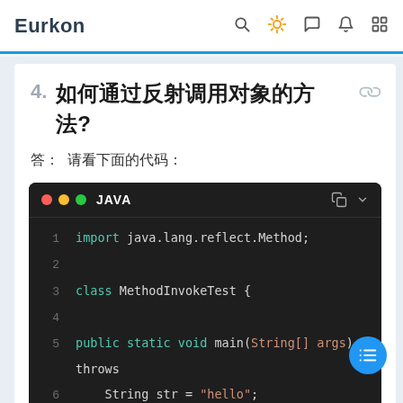Eurkon
4. 如何通过反射调用对象的方法?
答：  请看下面的代码：
[Figure (screenshot): Java code block showing reflection method invocation example with dark theme IDE-style code editor. Lines shown: 1: import java.lang.reflect.Method; 2: (blank) 3: class MethodInvokeTest { 4: (blank) 5: public static void main(String[] args) throws 6:     String str = "hello"; 7:     Method m = str.getClass().getMethod("toU...]